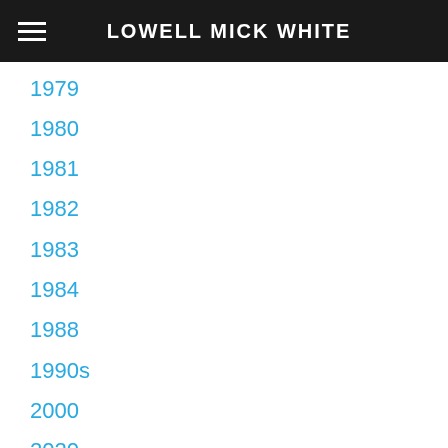LOWELL MICK WHITE
1979
1980
1981
1982
1983
1984
1988
1990s
2000
2020
2021
9-11
.99 Cents
Academia
Advice
Aging
Alamo Bay Press